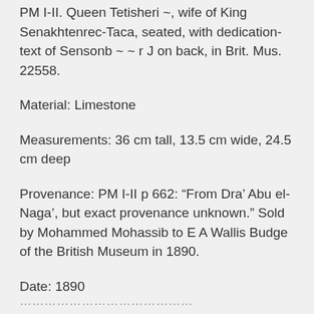PM I-II. Queen Tetisheri ~, wife of King Senakhtenrec-Taca, seated, with dedication-text of Sensonb ~ ~ r J on back, in Brit. Mus. 22558.
Material: Limestone
Measurements: 36 cm tall, 13.5 cm wide, 24.5 cm deep
Provenance: PM I-II p 662: “From Dra’ Abu el-Naga’, but exact provenance unknown.” Sold by Mohammed Mohassib to E A Wallis Budge of the British Museum in 1890.
Date: 1890
Additional description: